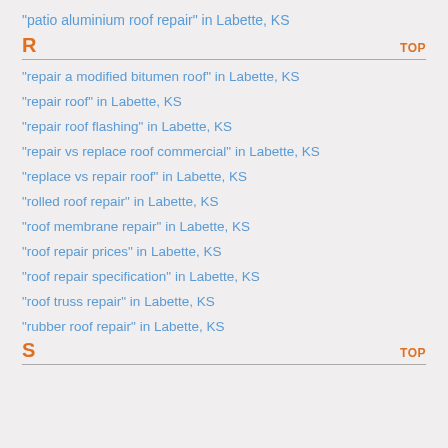"patio aluminium roof repair" in Labette, KS
R    TOP
"repair a modified bitumen roof" in Labette, KS
"repair roof" in Labette, KS
"repair roof flashing" in Labette, KS
"repair vs replace roof commercial" in Labette, KS
"replace vs repair roof" in Labette, KS
"rolled roof repair" in Labette, KS
"roof membrane repair" in Labette, KS
"roof repair prices" in Labette, KS
"roof repair specification" in Labette, KS
"roof truss repair" in Labette, KS
"rubber roof repair" in Labette, KS
S    TOP